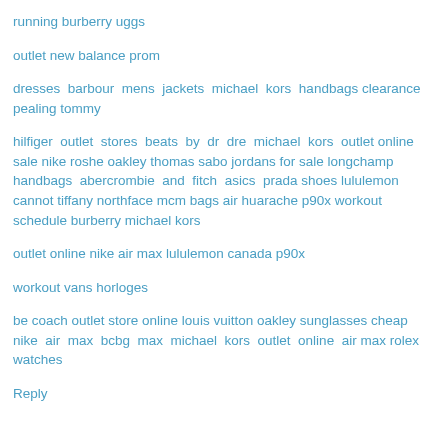running burberry uggs
outlet new balance prom
dresses barbour mens jackets michael kors handbags clearance pealing tommy
hilfiger outlet stores beats by dr dre michael kors outlet online sale nike roshe oakley thomas sabo jordans for sale longchamp handbags abercrombie and fitch asics prada shoes lululemon cannot tiffany northface mcm bags air huarache p90x workout schedule burberry michael kors
outlet online nike air max lululemon canada p90x
workout vans horloges
be coach outlet store online louis vuitton oakley sunglasses cheap nike air max bcbg max michael kors outlet online air max rolex watches
Reply